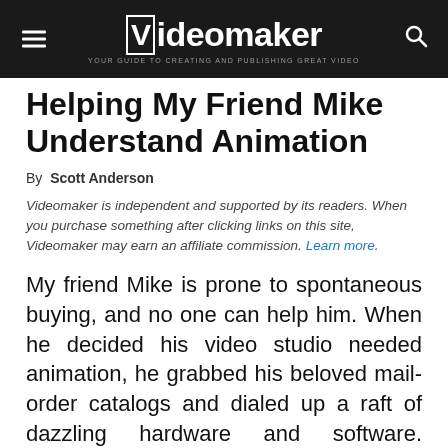Videomaker — YOUR GUIDE TO CREATING AND PUBLISHING GREAT VIDEO
Helping My Friend Mike Understand Animation
By Scott Anderson
Videomaker is independent and supported by its readers. When you purchase something after clicking links on this site, Videomaker may earn an affiliate commission. Learn more.
My friend Mike is prone to spontaneous buying, and no one can help him. When he decided his video studio needed animation, he grabbed his beloved mail-order catalogs and dialed up a raft of dazzling hardware and software. Unfortunately,